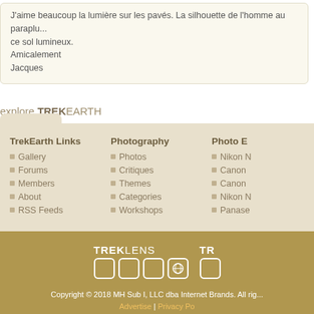J'aime beaucoup la lumière sur les pavés. La silhouette de l'homme au paraplu... ce sol lumineux.
Amicalement
Jacques
explore TREKEARTH
TrekEarth Links: Gallery, Forums, Members, About, RSS Feeds
Photography: Photos, Critiques, Themes, Categories, Workshops
Photo E...: Nikon N..., Canon ..., Canon ..., Nikon N..., Panase...
[Figure (logo): TREKLENS logo with icon boxes and TR logo partially visible]
Copyright © 2018 MH Sub I, LLC dba Internet Brands. All rig... Advertise | Privacy Po...